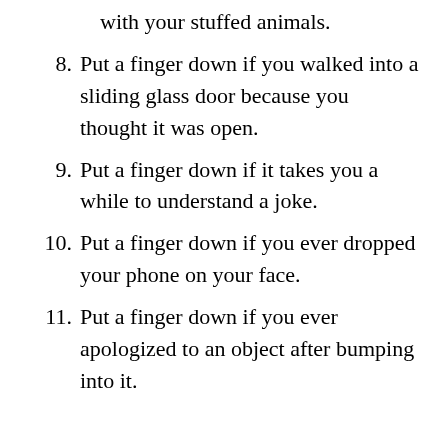with your stuffed animals.
8. Put a finger down if you walked into a sliding glass door because you thought it was open.
9. Put a finger down if it takes you a while to understand a joke.
10. Put a finger down if you ever dropped your phone on your face.
11. Put a finger down if you ever apologized to an object after bumping into it.